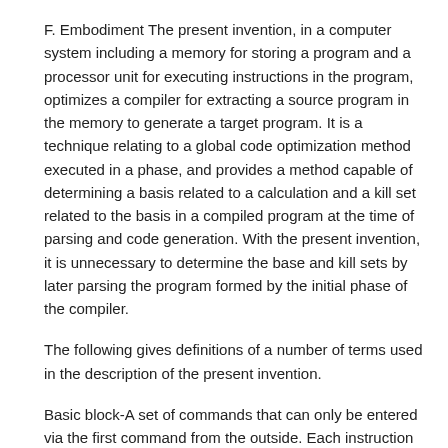F. Embodiment The present invention, in a computer system including a memory for storing a program and a processor unit for executing instructions in the program, optimizes a compiler for extracting a source program in the memory to generate a target program. It is a technique relating to a global code optimization method executed in a phase, and provides a method capable of determining a basis related to a calculation and a kill set related to the basis in a compiled program at the time of parsing and code generation. With the present invention, it is unnecessary to determine the base and kill sets by later parsing the program formed by the initial phase of the compiler.
The following gives definitions of a number of terms used in the description of the present invention.
Basic block-A set of commands that can only be entered via the first command from the outside. Each instruction in the base block has exactly one predecessor and successor instruction in the base block except the last one. This is also called a linear code.